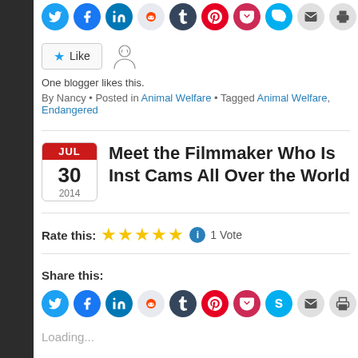[Figure (infographic): Row of social sharing icon circles (Twitter, Facebook, LinkedIn, Reddit, Tumblr, Pinterest, Pocket, Skype, Email, Print) — partial top crop]
[Figure (infographic): Like button with star icon and avatar sketch illustration]
One blogger likes this.
By Nancy • Posted in Animal Welfare • Tagged Animal Welfare, Endangered
Meet the Filmmaker Who Is Inst Cams All Over the World
Rate this: ★★★★★ ⓘ 1 Vote
Share this:
[Figure (infographic): Row of social sharing icon circles (Twitter, Facebook, LinkedIn, Reddit, Tumblr, Pinterest, Pocket, Skype, Email, Print)]
Loading...
By Nancy • Posted in Documentary, Photography • Tagged Documentary, Photog